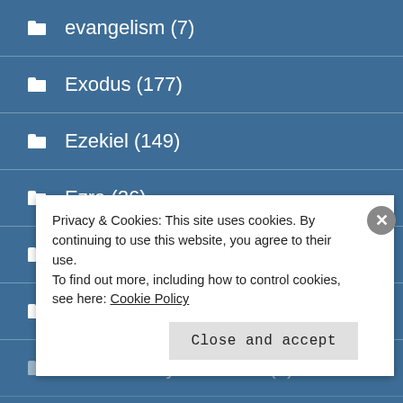evangelism (7)
Exodus (177)
Ezekiel (149)
Ezra (26)
faith (10)
faithfulness (1)
First Sunday of Advent (2)
Privacy & Cookies: This site uses cookies. By continuing to use this website, you agree to their use.
To find out more, including how to control cookies, see here: Cookie Policy
Close and accept